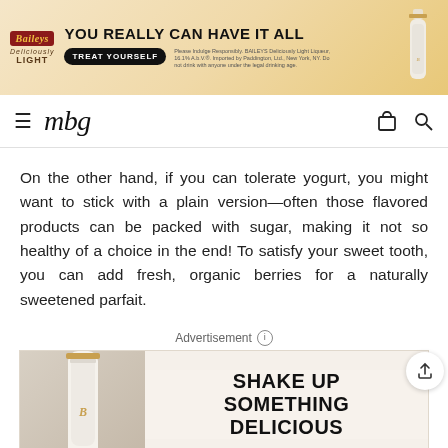[Figure (screenshot): Baileys advertisement banner: 'YOU REALLY CAN HAVE IT ALL' with 'TREAT YOURSELF' button, Baileys Deliciously Light bottle on gold/cream background]
mbg
On the other hand, if you can tolerate yogurt, you might want to stick with a plain version—often those flavored products can be packed with sugar, making it not so healthy of a choice in the end! To satisfy your sweet tooth, you can add fresh, organic berries for a naturally sweetened parfait.
Advertisement ⓘ
[Figure (screenshot): Baileys advertisement: white bottle on left, text 'SHAKE UP SOMETHING DELICIOUS' in bold black on cream background]